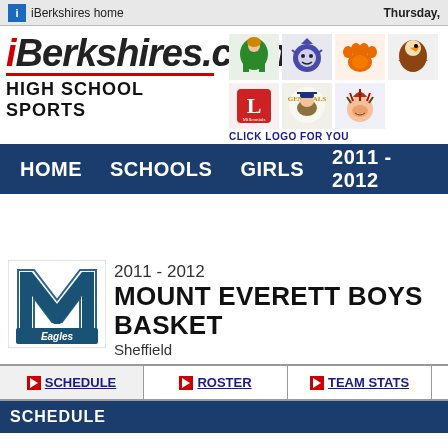iBerkshires home    Thursday,
[Figure (logo): iBerkshires.com High School Sports logo with red underline]
[Figure (illustration): Row of high school mascot logos: green football player, blue devil, orange tiger paw, eagle, L Millennials, Generals, Indian chief. Text: CLICK LOGO FOR YOU]
CLICK LOGO FOR YOU
HOME   SCHOOLS   GIRLS   2011 - 2012
[Figure (logo): Mount Everett Eagles M logo - block letter M with Eagles text]
2011 - 2012
MOUNT EVERETT BOYS BASKET
Sheffield
SCHEDULE   ROSTER   TEAM STATS
SCHEDULE